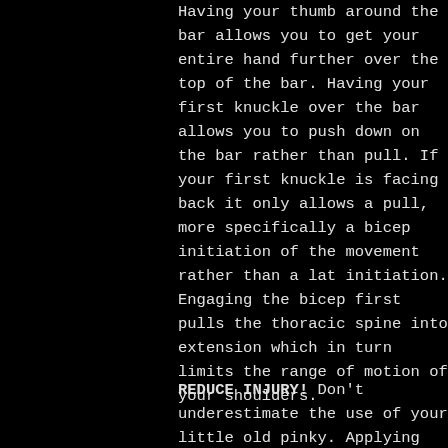Having your thumb around the bar allows you to get your entire hand further over the top of the bar. Having your first knuckle over the bar allows you to push down on the bar rather than pull. If your first knuckle is facing back it only allows a pull, more specifically a bicep initiation of the movement rather than a lat initiation. Engaging the bicep first pulls the thoracic spine into extension which in turn limits the range of motion of your shoulders.
REDUCE INJURY! Don't underestimate the use of your little old pinky. Applying your pinky knuckle further over the top of the